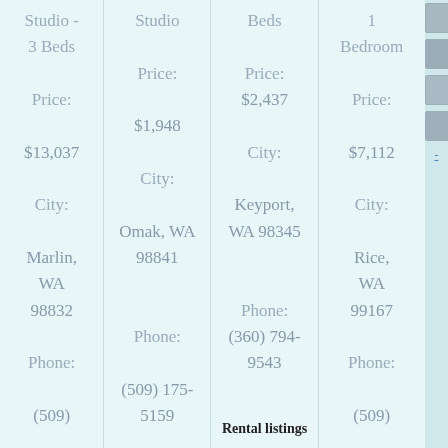Studio - 3 Beds
Price:
$13,037
City:
Marlin, WA 98832
Phone:
(509) 547-9188...
Studio
Price:
$1,948
City:
Omak, WA 98841
Phone:
(509) 175-5159
York Maino...
Beds
Price:
$2,437
City:
Keyport, WA 98345
Phone:
(360) 794-9543
Rental listings
1 Bedroom
Price:
$7,112
City:
Rice, WA 99167
Phone:
(509) 950-2983